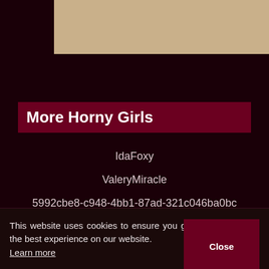[Figure (photo): Tan/beige colored image block at the top of the page]
More Horny Girls
IdaFoxy
ValeryMiracle
5992cbe8-c948-4bb1-87ad-321c046ba0bc
LitaFerd
47ff8a22-5e52-403d-94c5-562d8d1d3248
KimberlinMillonel
EvelineLure
This website uses cookies to ensure you get the best experience on our website. Learn more